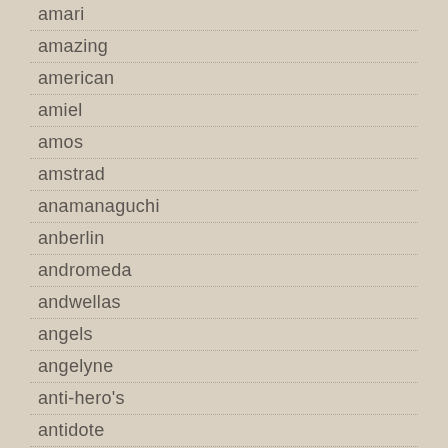amari
amazing
american
amiel
amos
amstrad
anamanaguchi
anberlin
andromeda
andwellas
angels
angelyne
anti-hero's
antidote
antique
aphex